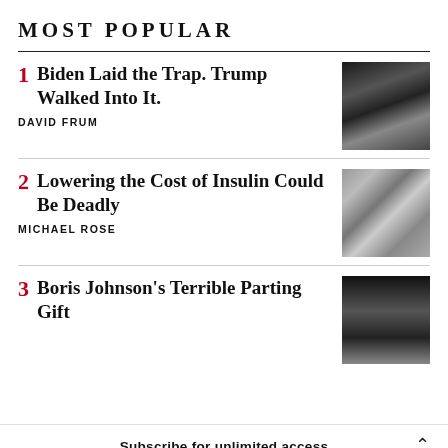MOST POPULAR
1 Biden Laid the Trap. Trump Walked Into It. DAVID FRUM
2 Lowering the Cost of Insulin Could Be Deadly MICHAEL ROSE
3 Boris Johnson's Terrible Parting Gift
Subscribe for unlimited access